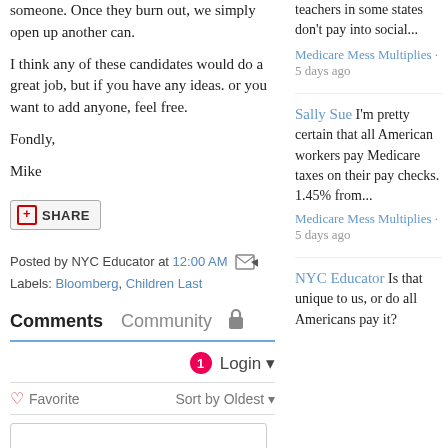someone. Once they burn out, we simply open up another can.
I think any of these candidates would do a great job, but if you have any ideas. or you want to add anyone, feel free.
Fondly,
Mike
[Figure (screenshot): Share button with red plus icon]
Posted by NYC Educator at 12:00 AM
Labels: Bloomberg, Children Last
Comments   Community
Login
Favorite   Sort by Oldest
teachers in some states don't pay into social...
Medicare Mess Multiplies · 5 days ago
Sally Sue I'm pretty certain that all American workers pay Medicare taxes on their pay checks. 1.45% from...
Medicare Mess Multiplies · 5 days ago
NYC Educator Is that unique to us, or do all Americans pay it?